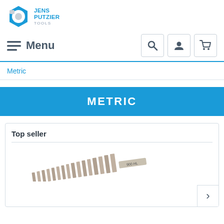[Figure (logo): Jens Putzier Tools logo with hexagonal blue icon and brand name]
Menu
Metric
METRIC
Top seller
[Figure (photo): Product image showing a set of metric drill bits labeled 900 HL arranged in a diagonal row]